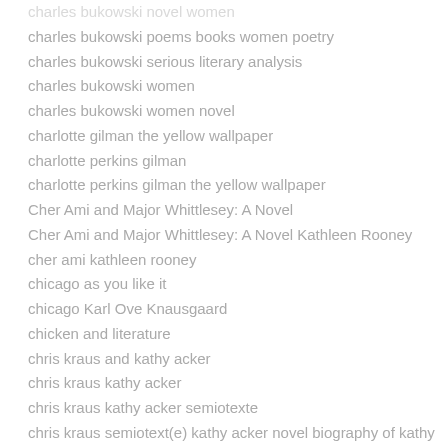charles bukowski novel women
charles bukowski poems books women poetry
charles bukowski serious literary analysis
charles bukowski women
charles bukowski women novel
charlotte gilman the yellow wallpaper
charlotte perkins gilman
charlotte perkins gilman the yellow wallpaper
Cher Ami and Major Whittlesey: A Novel
Cher Ami and Major Whittlesey: A Novel Kathleen Rooney
cher ami kathleen rooney
chicago as you like it
chicago Karl Ove Knausgaard
chicken and literature
chris kraus and kathy acker
chris kraus kathy acker
chris kraus kathy acker semiotexte
chris kraus semiotext(e) kathy acker novel biography of kathy